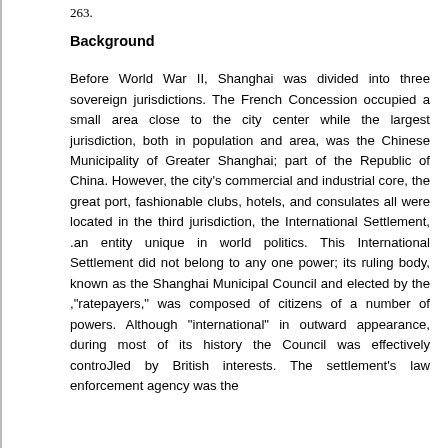263.
Background
Before World War II, Shanghai was divided into three sovereign jurisdictions. The French Concession occupied a small area close to the city center while the largest jurisdiction, both in population and area, was the Chinese Municipality of Greater Shanghai; part of the Republic of China. However, the city's commercial and industrial core, the great port, fashionable clubs, hotels, and consulates all were located in the third jurisdiction, the International Settlement, .an entity unique in world politics. This International Settlement did not belong to any one power; its ruling body, known as the Shanghai Municipal Council and elected by the ,"ratepayers," was composed of citizens of a number of powers. Although "international" in outward appearance, during most of its history the Council was effectively controJled by British interests. The settlement's law enforcement agency was the